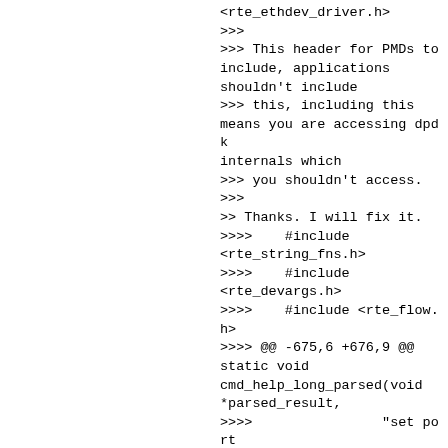<rte_ethdev_driver.h>
>>>
>>> This header for PMDs to include, applications shouldn't include
>>> this, including this means you are accessing dpdk internals which
>>> you shouldn't access.
>>>
>> Thanks. I will fix it.
>>>>    #include <rte_string_fns.h>
>>>>    #include <rte_devargs.h>
>>>>    #include <rte_flow.h>
>>>> @@ -675,6 +676,9 @@ static void cmd_help_long_parsed(void *parsed_result,
>>>>                "set port (port_id) ptype_mask (ptype_mask)\n"
>>>>                "    set packet types classification for a specific port\n\n"
>>>> +		"tx_done_cleanup (port_id) (queue_id) (free_cnt)\n"
>>>> +		"